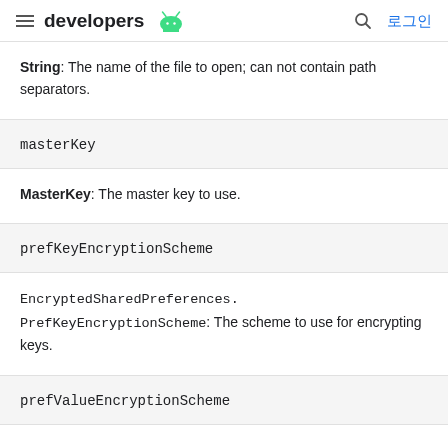developers [Android logo] | [search icon] 로그인
String: The name of the file to open; can not contain path separators.
masterKey
MasterKey: The master key to use.
prefKeyEncryptionScheme
EncryptedSharedPreferences.PrefKeyEncryptionScheme: The scheme to use for encrypting keys.
prefValueEncryptionScheme